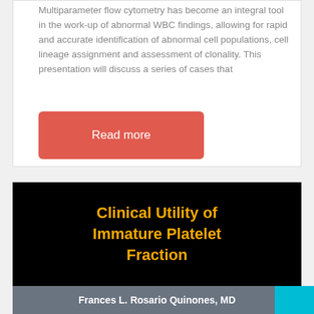Multiparameter flow cytometry has become an integral tool in the work-up of abnormal WBC findings, allowing for rapid and accurate identification of abnormal cell populations, cell lineage assignment and assessment of clonality. This presentation will discuss a series of cases that
Read more
Clinical Utility of Immature Platelet Fraction
Frances L. Rosario Quinones, MD